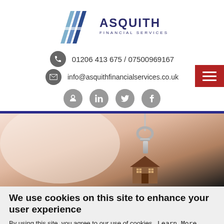[Figure (logo): Asquith Financial Services logo with stylized 'A' mark in blue and company name in dark navy text]
01206 413 675 / 07500969167
info@asquithfinancialservices.co.uk
[Figure (other): Social media icons: Google+, LinkedIn, Twitter, Facebook — grey circular icons]
[Figure (photo): Hero image showing house-shaped keyring on a keychain, blurred warm background]
We use cookies on this site to enhance your user experience
By using this site, you agree to our use of cookies.  Learn More